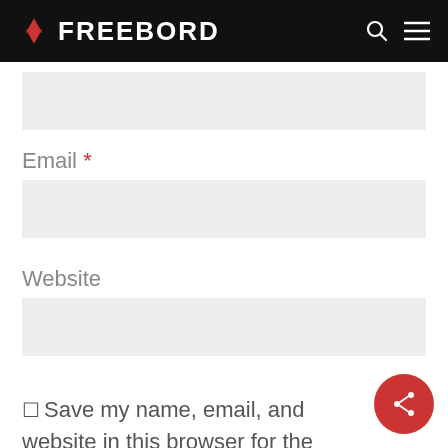FREEBORD
Email *
Website
Save my name, email, and website in this browser for the next time I comment.